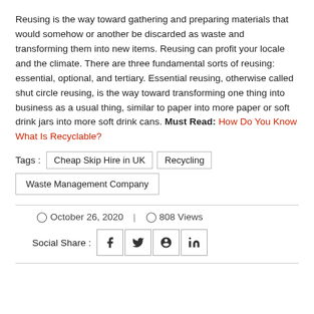Reusing is the way toward gathering and preparing materials that would somehow or another be discarded as waste and transforming them into new items. Reusing can profit your locale and the climate. There are three fundamental sorts of reusing: essential, optional, and tertiary. Essential reusing, otherwise called shut circle reusing, is the way toward transforming one thing into business as a usual thing, similar to paper into more paper or soft drink jars into more soft drink cans. Must Read: How Do You Know What Is Recyclable?
Tags : Cheap Skip Hire in UK | Recycling | Waste Management Company
October 26, 2020 | 808 Views
Social Share :